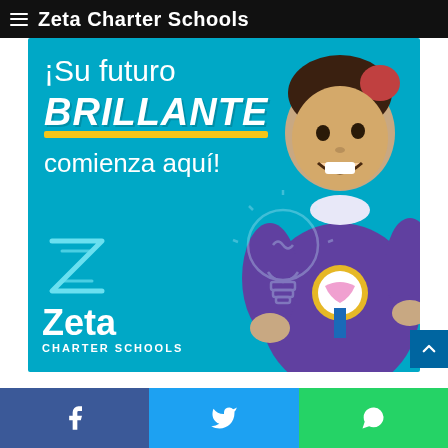Zeta Charter Schools
[Figure (illustration): Zeta Charter Schools advertisement in Spanish. Teal background with a smiling young girl in a purple school uniform holding a cupcake medal. Text reads: ¡Su futuro BRILLANTE comienza aquí! with Zeta Charter Schools logo including stylized Z letter and a chalk lightbulb drawing.]
[Figure (infographic): Social share bar at bottom with Facebook, Twitter, and WhatsApp share buttons]